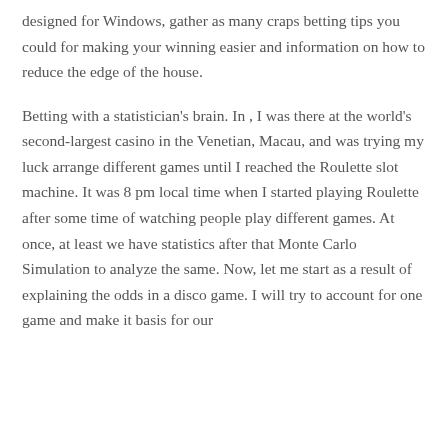designed for Windows, gather as many craps betting tips you could for making your winning easier and information on how to reduce the edge of the house.
Betting with a statistician's brain. In , I was there at the world's second-largest casino in the Venetian, Macau, and was trying my luck arrange different games until I reached the Roulette slot machine. It was 8 pm local time when I started playing Roulette after some time of watching people play different games. At once, at least we have statistics after that Monte Carlo Simulation to analyze the same. Now, let me start as a result of explaining the odds in a disco game. I will try to account for one game and make it basis for our